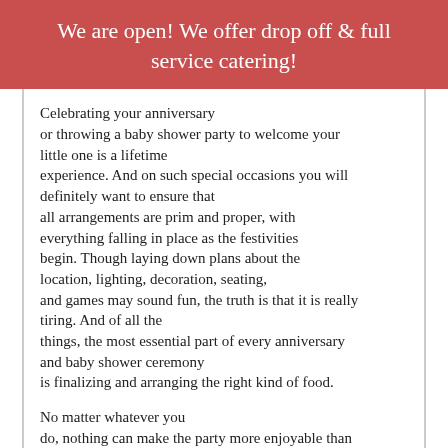We are open! We offer drop off & full service catering!
Celebrating your anniversary or throwing a baby shower party to welcome your little one is a lifetime experience. And on such special occasions you will definitely want to ensure that all arrangements are prim and proper, with everything falling in place as the festivities begin. Though laying down plans about the location, lighting, decoration, seating, and games may sound fun, the truth is that it is really tiring. And of all the things, the most essential part of every anniversary and baby shower ceremony is finalizing and arranging the right kind of food.
No matter whatever you do, nothing can make the party more enjoyable than some lip-smacking dishes that